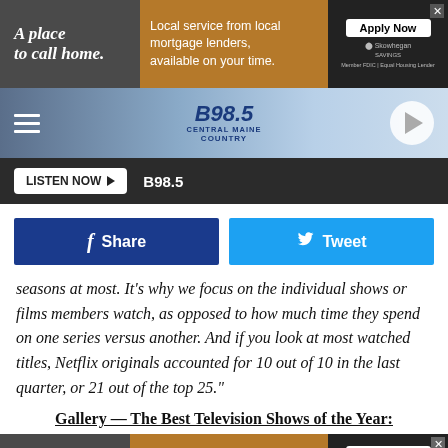[Figure (screenshot): Advertisement banner: 'A place to call home. Local service from local mortgage lenders, available on your time. Apply Now – Skowhegan Savings']
[Figure (logo): B98.5 Central Maine Country radio station navigation bar with hamburger menu and play button]
[Figure (screenshot): LISTEN NOW button and B98.5 station label on dark bar]
[Figure (screenshot): Facebook Share and Twitter Tweet social sharing buttons]
seasons at most. It's why we focus on the individual shows or films members watch, as opposed to how much time they spend on one series versus another. And if you look at most watched titles, Netflix originals accounted for 10 out of 10 in the last quarter, or 21 out of the top 25."
Gallery — The Best Television Shows of the Year:
[Figure (screenshot): Advertisement banner bottom: 'A place to call home. Local service from local mortgage lenders, available on your time. Apply Now – Skowhegan Savings']